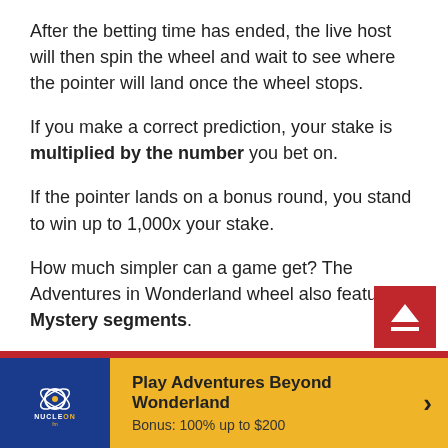After the betting time has ended, the live host will then spin the wheel and wait to see where the pointer will land once the wheel stops.
If you make a correct prediction, your stake is multiplied by the number you bet on.
If the pointer lands on a bonus round, you stand to win up to 1,000x your stake.
How much simpler can a game get? The Adventures in Wonderland wheel also features 2 Mystery segments.
While you can't bet on these, you stand to receive a multiplier or respin if the pointer lands on them.
Play Adventures Beyond Wonderland
Bonus: 100% up to $200